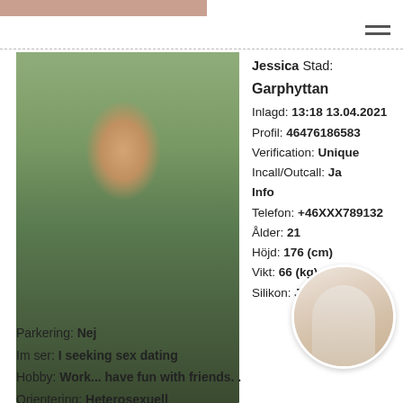[Figure (photo): Top decorative bar in salmon/rose color]
[Figure (photo): Profile photo of a woman in a green dress and red heels standing in a wooden gazebo]
Jessica Stad: Garphyttan
Inlagd: 13:18 13.04.2021
Profil: 46476186583
Verification: Unique
Incall/Outcall: Ja
Info
Telefon: +46XXX789132
Ålder: 21
Höjd: 176 (cm)
Vikt: 66 (kg)
Silikon: Ja
Parkering: Nej
Im ser: I seeking sex dating
Hobby: Work... have fun with friends. .
Orientering: Heterosexuell
[Figure (photo): Circular thumbnail of a woman in a white top and blue shorts]